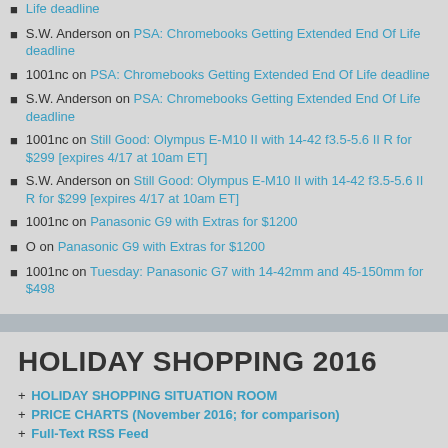[link] Life deadline
S.W. Anderson on PSA: Chromebooks Getting Extended End Of Life deadline
1001nc on PSA: Chromebooks Getting Extended End Of Life deadline
S.W. Anderson on PSA: Chromebooks Getting Extended End Of Life deadline
1001nc on Still Good: Olympus E-M10 II with 14-42 f3.5-5.6 II R for $299 [expires 4/17 at 10am ET]
S.W. Anderson on Still Good: Olympus E-M10 II with 14-42 f3.5-5.6 II R for $299 [expires 4/17 at 10am ET]
1001nc on Panasonic G9 with Extras for $1200
O on Panasonic G9 with Extras for $1200
1001nc on Tuesday: Panasonic G7 with 14-42mm and 45-150mm for $498
HOLIDAY SHOPPING 2016
+ HOLIDAY SHOPPING SITUATION ROOM
+ PRICE CHARTS (November 2016; for comparison)
+ Full-Text RSS Feed